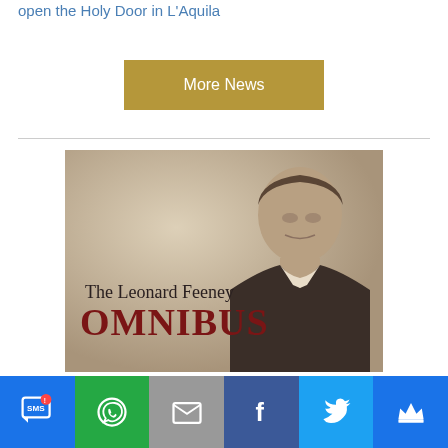open the Holy Door in L'Aquila
More News
[Figure (illustration): Book cover for 'The Leonard Feeney Omnibus' featuring a sepia-toned portrait of Leonard Feeney, a man in clerical attire, with the book title displayed prominently.]
[Figure (other): Social media sharing buttons: SMS, WhatsApp, Email, Facebook, Twitter, and a crown/notification icon, displayed in a horizontal bar at the bottom of the page.]